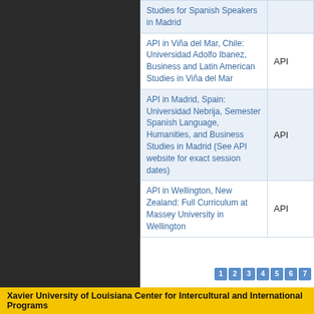| Program Name | Provider |
| --- | --- |
| Studies for Spanish Speakers in Madrid |  |
| API in Viña del Mar, Chile: Universidad Adolfo Ibanez, Business and Latin American Studies in Viña del Mar | API |
| API in Madrid, Spain: Universidad Nebrija, Semester Spanish Language, Humanities, and Business Studies in Madrid (See API website for exact session dates) | API |
| API in Wellington, New Zealand: Full Curriculum at Massey University in Wellington | API |
Xavier University of Louisiana Center for Intercultural and International Programs